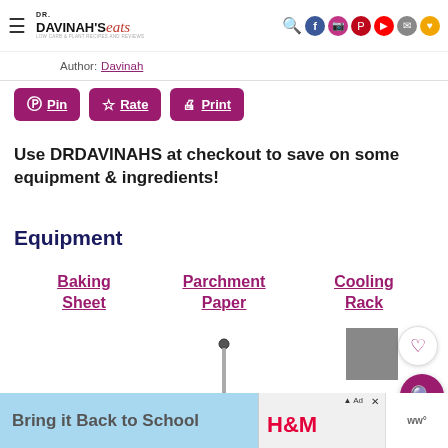Dr. Davinah's Eats — navigation bar with logo and social icons
Author: Davinah
[Figure (screenshot): Pin, Rate, and Print action buttons in magenta/purple color]
Use DRDAVINAHS at checkout to save on some equipment & ingredients!
Equipment
Baking Sheet   Parchment Paper   Cooling Rack
[Figure (photo): Metal tongs or baller tool visible at bottom of content area]
Bring it Back to School — H&M advertisement banner